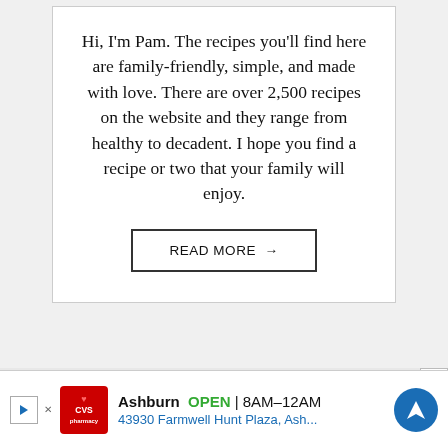Hi, I'm Pam. The recipes you'll find here are family-friendly, simple, and made with love. There are over 2,500 recipes on the website and they range from healthy to decadent. I hope you find a recipe or two that your family will enjoy.
READ MORE →
[Figure (infographic): Advertisement banner for CVS Pharmacy showing store location in Ashburn, OPEN 8AM-12AM, address 43930 Farmwell Hunt Plaza, Ash..., with CVS logo and directions icon]